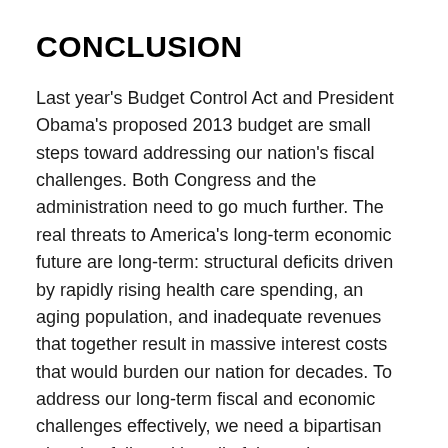CONCLUSION
Last year's Budget Control Act and President Obama's proposed 2013 budget are small steps toward addressing our nation's fiscal challenges. Both Congress and the administration need to go much further. The real threats to America's long-term economic future are long-term: structural deficits driven by rapidly rising health care spending, an aging population, and inadequate revenues that together result in massive interest costs that would burden our nation for decades. To address our long-term fiscal and economic challenges effectively, we need a bipartisan plan that fully tackles all of the major unsustainable areas of the federal budget. A plan can be developed now that allows for measures to aid the economic recovery in the short term, and simultaneously commits to major long-term structural reforms to the budget to be implemented later when the economy is stronger.